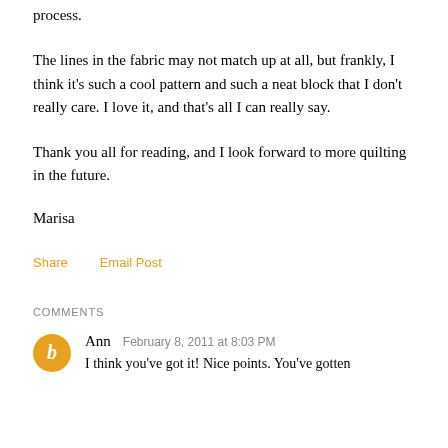process.
The lines in the fabric may not match up at all, but frankly, I think it's such a cool pattern and such a neat block that I don't really care. I love it, and that's all I can really say.
Thank you all for reading, and I look forward to more quilting in the future.
Marisa
Share    Email Post
COMMENTS
Ann  February 8, 2011 at 8:03 PM
I think you've got it! Nice points. You've gotten